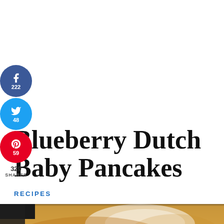[Figure (infographic): Social sharing sidebar with Facebook (222), Twitter (48), Pinterest (59) circular buttons and total shares count 329]
Blueberry Dutch Baby Pancakes
RECIPES
[Figure (photo): Close-up food photo of a Dutch baby pancake dusted with powdered sugar]